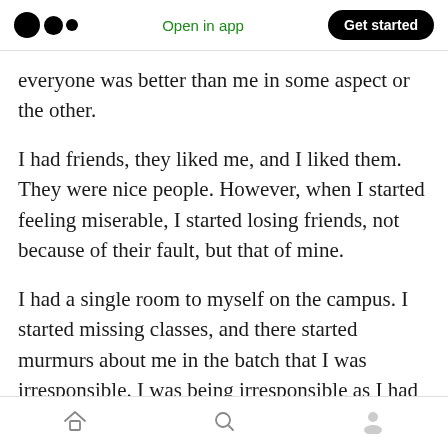Medium logo | Open in app | Get started
everyone was better than me in some aspect or the other.
I had friends, they liked me, and I liked them. They were nice people. However, when I started feeling miserable, I started losing friends, not because of their fault, but that of mine.
I had a single room to myself on the campus. I started missing classes, and there started murmurs about me in the batch that I was irresponsible. I was being irresponsible as I had stopped going to classes, attending group
Home | Search | Profile